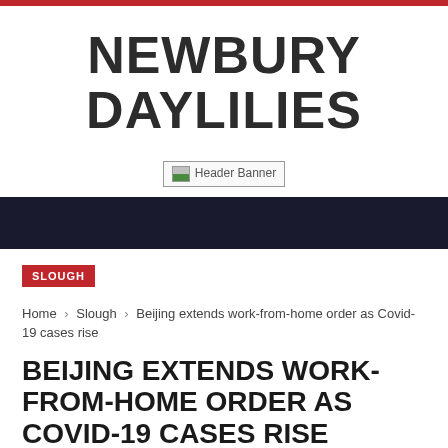NEWBURY DAYLILIES
[Figure (other): Header Banner placeholder image]
SLOUGH
Home › Slough › Beijing extends work-from-home order as Covid-19 cases rise
BEIJING EXTENDS WORK-FROM-HOME ORDER AS COVID-19 CASES RISE